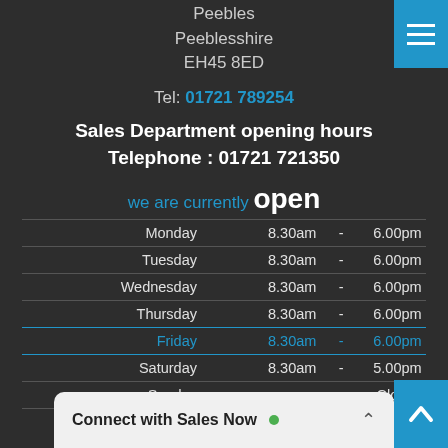Peebles
Peeblesshire
EH45 8ED
Tel: 01721 789254
Sales Department opening hours
Telephone : 01721 721350
we are currently open
| Day | Open |  | Close |
| --- | --- | --- | --- |
| Monday | 8.30am | - | 6.00pm |
| Tuesday | 8.30am | - | 6.00pm |
| Wednesday | 8.30am | - | 6.00pm |
| Thursday | 8.30am | - | 6.00pm |
| Friday | 8.30am | - | 6.00pm |
| Saturday | 8.30am | - | 5.00pm |
| Sunday |  | - | Closed |
Service Department opening hours
Connect with Sales Now